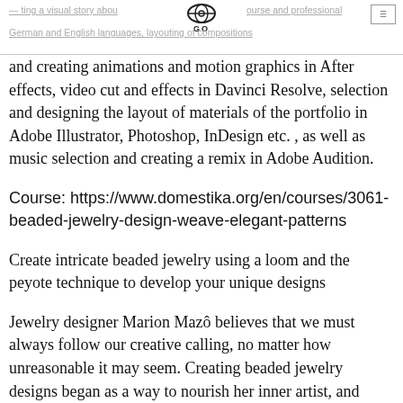ting a visual story about ourse and professional German and English languages, layouting of compositions
and creating animations and motion graphics in After effects, video cut and effects in Davinci Resolve, selection and designing the layout of materials of the portfolio in Adobe Illustrator, Photoshop, InDesign etc. , as well as music selection and creating a remix in Adobe Audition.
Course: https://www.domestika.org/en/courses/3061-beaded-jewelry-design-weave-elegant-patterns
Create intricate beaded jewelry using a loom and the peyote technique to develop your unique designs
Jewelry designer Marion Mazô believes that we must always follow our creative calling, no matter how unreasonable it may seem. Creating beaded jewelry designs began as a way to nourish her inner artist, and quickly developed into a full-time passion and profession. Marion's designs have been